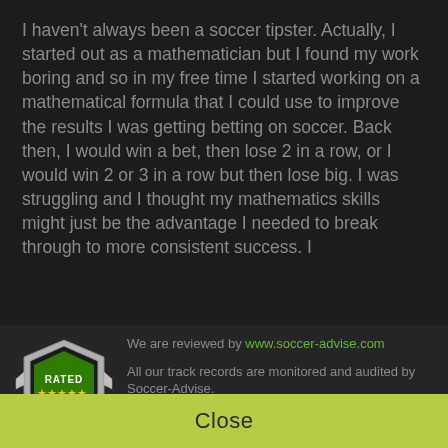I haven't always been a soccer tipster. Actually, I started out as a mathematician but I found my work boring and so in my free time I started working on a mathematical formula that I could use to improve the results I was getting betting on soccer. Back then, I would win a bet, then lose 2 in a row, or I would win 2 or 3 in a row but then lose big. I was struggling and I thought my mathematics skills might just be the advantage I needed to break through to more consistent success. I
[Figure (logo): Soccer-Advise rated badge with shield shape, green center, stars, silver border]
We are reviewed by www.soccer-advise.com
All our track records are monitored and audited by Soccer-Advise.
Feel free to write an honest review on us to improve our reputation in the community.
Close